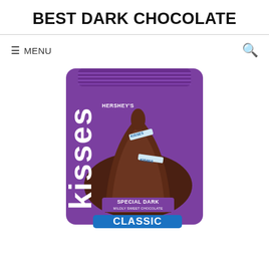BEST DARK CHOCOLATE
≡ MENU
[Figure (photo): Hershey's Kisses Special Dark Mildly Sweet Chocolate bag in purple packaging, with 'CLASSIC' text at bottom in blue banner, showing chocolate kisses on the front.]